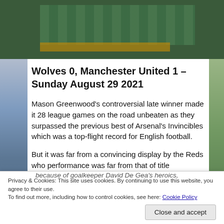[Figure (photo): Aerial view of a football pitch with players and dugout benches visible]
Wolves 0, Manchester United 1 – Sunday August 29 2021
Mason Greenwood's controversial late winner made it 28 league games on the road unbeaten as they surpassed the previous best of Arsenal's Invincibles which was a top-flight record for English football.
But it was far from a convincing display by the Reds who performance was far from that of title
Privacy & Cookies: This site uses cookies. By continuing to use this website, you agree to their use.
To find out more, including how to control cookies, see here: Cookie Policy
because of goalkeeper David De Gea's heroics,